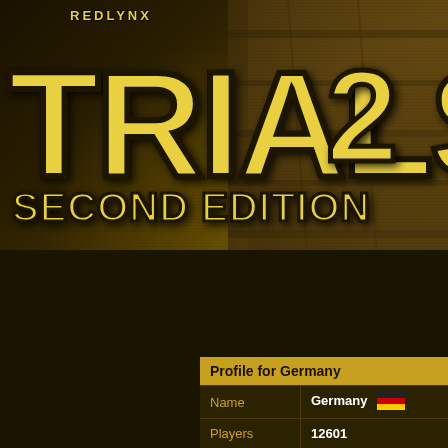[Figure (logo): RedLynx Trials 2 Second Edition game logo with yellow grunge-style text on dark background]
| Profile for Germany |  |
| --- | --- |
| Name | Germany [flag] |
| Players | 12601 |